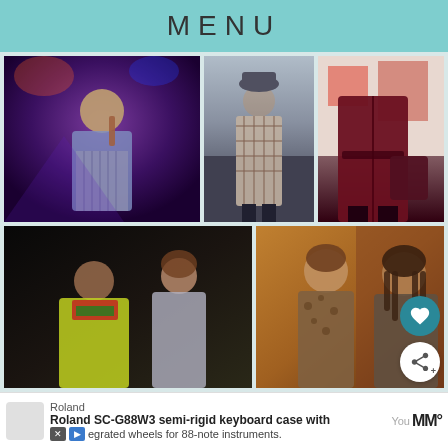MENU
[Figure (photo): A collage of five fashion/entertainment photos: top-left shows a person singing with a microphone wearing a striped/pleated outfit on a purple-lit stage; top-center shows a man in a plaid overcoat walking on a city street; top-right shows a person in a dark red/burgundy long coat carrying a bag; bottom-left shows two people in a dark scene with one wearing a yellow/green coat; bottom-right shows two women in an indoor warm-lit setting, one in a leopard print outfit.]
Roland
Roland SC-G88W3 semi-rigid keyboard case with integrated wheels for 88-note instruments.